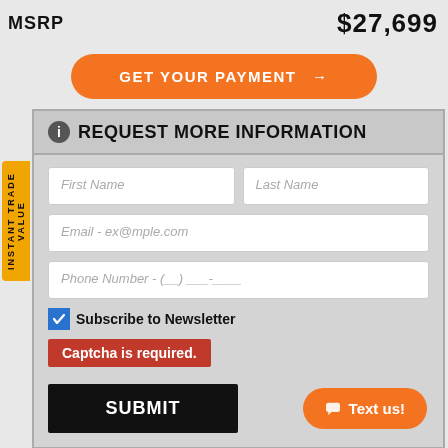MSRP    $27,699
GET YOUR PAYMENT →
REQUEST MORE INFORMATION
First Name
Last Name
Email - ex@mple.com
Phone Number - (__) ___-____
Subscribe to Newsletter
Captcha is required.
SUBMIT
Text us!
By pressing SUBMIT, you agree that DX1, LLC and San Francisco Harley-Davidson